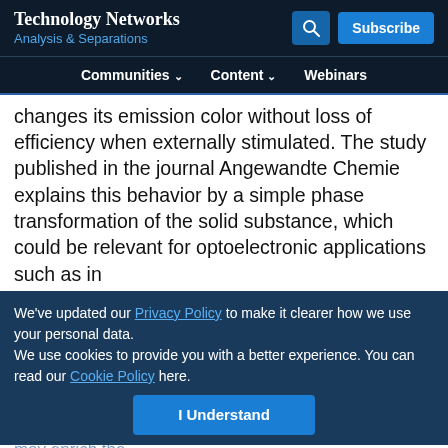Technology Networks
Analysis & Separations
Communities  Content  Webinars
changes its emission color without loss of efficiency when externally stimulated. The study published in the journal Angewandte Chemie explains this behavior by a simple phase transformation of the solid substance, which could be relevant for optoelectronic applications such as in smart OLEDs.
We've updated our Privacy Policy to make it clearer how we use your personal data.
We use cookies to provide you with a better experience. You can read our Cookie Policy here.
I Understand
[Figure (screenshot): Thermo Fisher Scientific advertisement banner with lab equipment images and Learn more button]